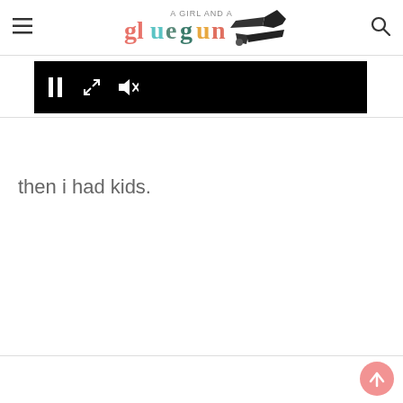A GIRL AND A gluegun [logo with glue gun icon]
[Figure (screenshot): Video player control bar with pause button, fullscreen button, and mute button on black background]
then i had kids.
[Figure (other): Pink/coral scroll-to-top circular button with upward arrow]